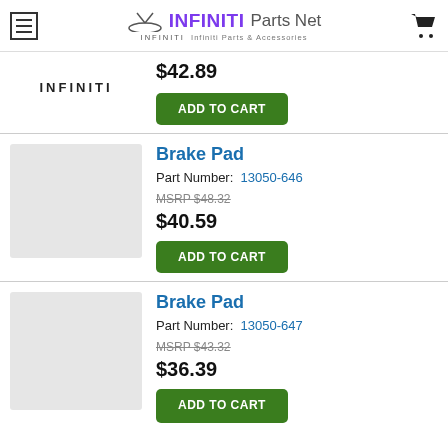INFINITI Parts Net — Infiniti Parts & Accessories
$42.89
ADD TO CART
Brake Pad
Part Number: 13050-646
MSRP $48.32
$40.59
ADD TO CART
Brake Pad
Part Number: 13050-647
MSRP $43.32
$36.39
ADD TO CART